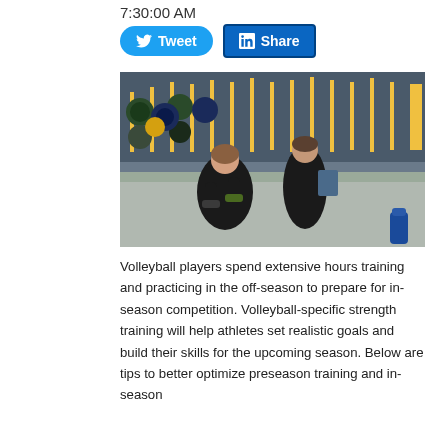7:30:00 AM
[Figure (other): Tweet and LinkedIn Share social media buttons]
[Figure (photo): A female athlete doing dumbbell squats while a male coach in black looks on holding a clipboard, inside a gym with blue and yellow weight racks in the background.]
Volleyball players spend extensive hours training and practicing in the off-season to prepare for in-season competition. Volleyball-specific strength training will help athletes set realistic goals and build their skills for the upcoming season. Below are tips to better optimize preseason training and in-season